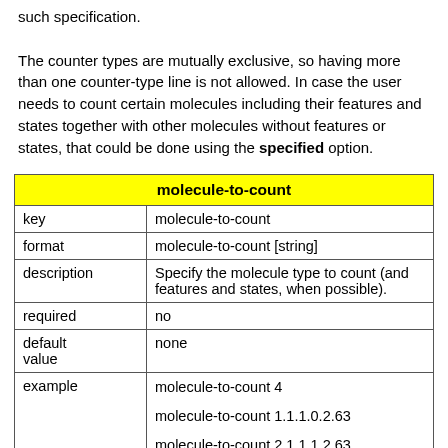such specification.

The counter types are mutually exclusive, so having more than one counter-type line is not allowed. In case the user needs to count certain molecules including their features and states together with other molecules without features or states, that could be done using the specified option.
| molecule-to-count |
| --- |
| key | molecule-to-count |
| format | molecule-to-count [string] |
| description | Specify the molecule type to count (and features and states, when possible). |
| required | no |
| default value | none |
| example | molecule-to-count 4

molecule-to-count 1.1.1.0.2.63

molecule-to-count 2.1.1.1.2.63

molecule-to-count 5.1.1.0.2.63.1.2.5 |